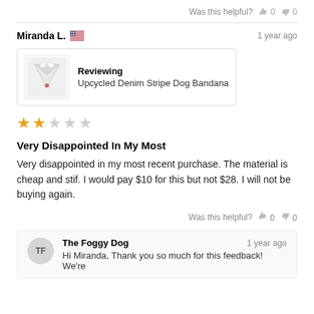Was this helpful? 0 0
Miranda L. 🇺🇸   1 year ago
Reviewing
Upcycled Denim Stripe Dog Bandana
[Figure (other): 2 out of 5 stars rating]
Very Disappointed In My Most
Very disappointed in my most recent purchase. The material is cheap and stif. I would pay $10 for this but not $28. I will not be buying again.
Was this helpful? 0 0
The Foggy Dog   1 year ago
Hi Miranda, Thank you so much for this feedback! We're